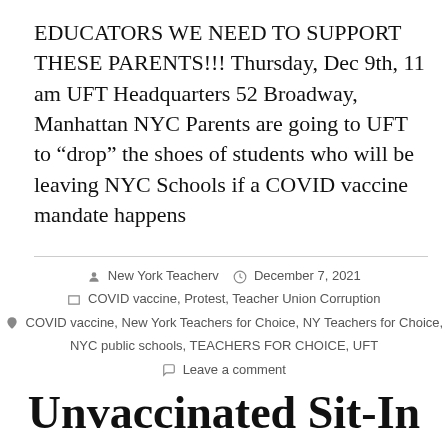EDUCATORS WE NEED TO SUPPORT THESE PARENTS!!! Thursday, Dec 9th, 11 am UFT Headquarters 52 Broadway, Manhattan NYC Parents are going to UFT to “drop” the shoes of students who will be leaving NYC Schools if a COVID vaccine mandate happens
New York Teacherv  December 7, 2021  COVID vaccine, Protest, Teacher Union Corruption  COVID vaccine, New York Teachers for Choice, NY Teachers for Choice, NYC public schools, TEACHERS FOR CHOICE, UFT  Leave a comment
Unvaccinated Sit-In